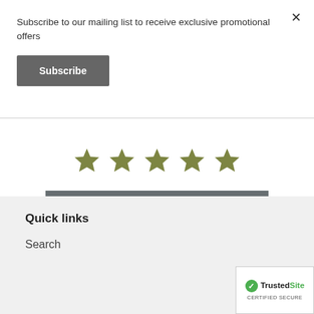Subscribe to our mailing list to receive exclusive promotional offers
Subscribe
[Figure (other): Five olive/khaki colored star rating icons in a row]
BE THE FIRST TO WRITE A REVIEW
Quick links
Search
[Figure (logo): TrustedSite Certified Secure badge with green checkmark]